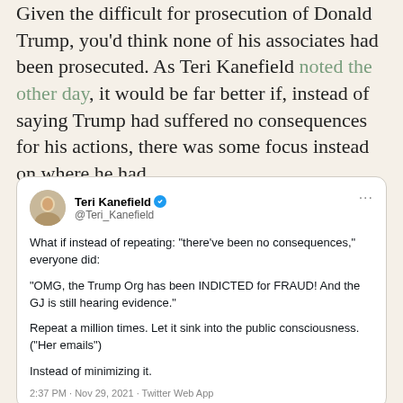Given the difficult for prosecution of Donald Trump, you'd think none of his associates had been prosecuted. As Teri Kanefield noted the other day, it would be far better if, instead of saying Trump had suffered no consequences for his actions, there was some focus instead on where he had.
[Figure (screenshot): Embedded tweet from Teri Kanefield (@Teri_Kanefield) with verified badge. Tweet text: 'What if instead of repeating: "there've been no consequences," everyone did: "OMG, the Trump Org has been INDICTED for FRAUD! And the GJ is still hearing evidence." Repeat a million times. Let it sink into the public consciousness. ("Her emails") Instead of minimizing it.' Posted at 2:37 PM · Nov 29, 2021 · Twitter Web App]